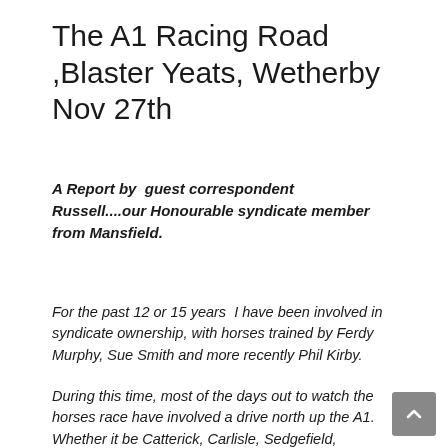The A1 Racing Road ,Blaster Yeats, Wetherby Nov 27th
A Report by guest correspondent Russell....our Honourable syndicate member from Mansfield.
For the past 12 or 15 years I have been involved in syndicate ownership, with horses trained by Ferdy Murphy, Sue Smith and more recently Phil Kirby.
During this time, most of the days out to watch the horses race have involved a drive north up the A1. Whether it be Catterick, Carlisle, Sedgefield,